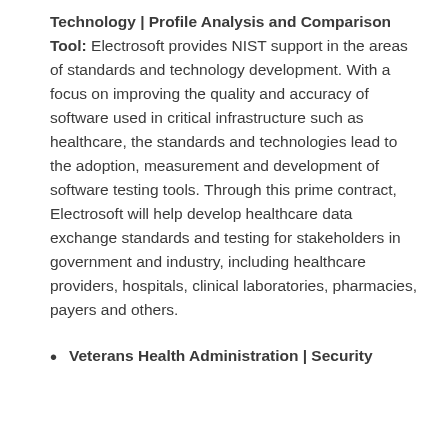Technology | Profile Analysis and Comparison Tool: Electrosoft provides NIST support in the areas of standards and technology development. With a focus on improving the quality and accuracy of software used in critical infrastructure such as healthcare, the standards and technologies lead to the adoption, measurement and development of software testing tools. Through this prime contract, Electrosoft will help develop healthcare data exchange standards and testing for stakeholders in government and industry, including healthcare providers, hospitals, clinical laboratories, pharmacies, payers and others.
Veterans Health Administration | Security